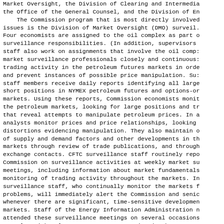Market Oversight, the Division of Clearing and Intermedia the Office of the General Counsel, and the Division of En
    The Commission program that is most directly involved issues is the Division of Market Oversight (DMO) surveil. Four economists are assigned to the oil complex as part o surveillance responsibilities. (In addition, supervisors staff also work on assignments that involve the oil comp: market surveillance professionals closely and continuous: trading activity in the petroleum futures markets in orde and prevent instances of possible price manipulation. Su: staff members receive daily reports identifying all large short positions in NYMEX petroleum futures and options-or markets. Using these reports, Commission economists monit the petroleum markets, looking for large positions and tr that reveal attempts to manipulate petroleum prices. In a analysts monitor prices and price relationships, looking distortions evidencing manipulation. They also maintain o of supply and demand factors and other developments in th markets through review of trade publications, and through exchange contacts. CFTC surveillance staff routinely repo Commission on surveillance activities at weekly market su meetings, including information about market fundamentals monitoring of trading activity throughout the markets. In surveillance staff, who continually monitor the markets f problems, will immediately alert the Commission and senic whenever there are significant, time-sensitive developmen markets. Staff of the Energy Information Administration n attended these surveillance meetings on several occasions consults with relevant government agencies (such as EIA : energy products), commercial participants (such as oil p